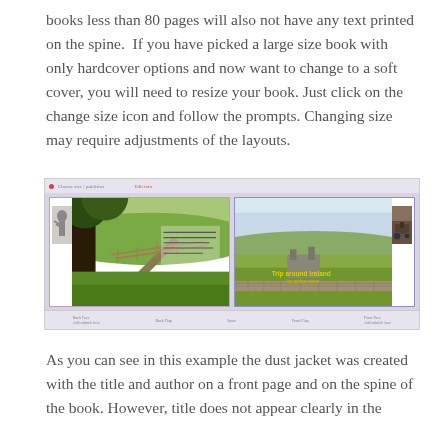books less than 80 pages will also not have any text printed on the spine.  If you have picked a large size book with only hardcover options and now want to change to a soft cover, you will need to resize your book. Just click on the change size icon and follow the prompts. Changing size may require adjustments of the layouts.
[Figure (screenshot): Screenshot of a book layout editor showing a two-page spread with photographs of countryside and a sculpture thumbnail on the left, and a pastoral landscape on the right page with a small text overlay.]
As you can see in this example the dust jacket was created with the title and author on a front page and on the spine of the book. However, title does not appear clearly in the